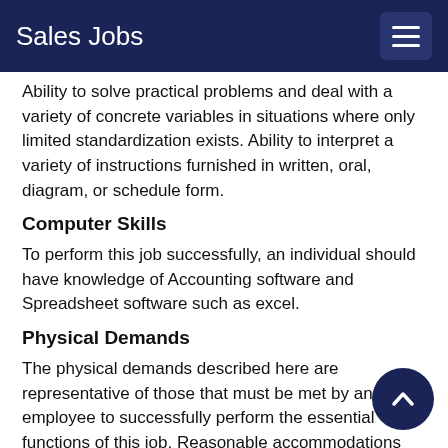Sales Jobs
Ability to solve practical problems and deal with a variety of concrete variables in situations where only limited standardization exists. Ability to interpret a variety of instructions furnished in written, oral, diagram, or schedule form.
Computer Skills
To perform this job successfully, an individual should have knowledge of Accounting software and Spreadsheet software such as excel.
Physical Demands
The physical demands described here are representative of those that must be met by an employee to successfully perform the essential functions of this job. Reasonable accommodations may be made to enable individuals with